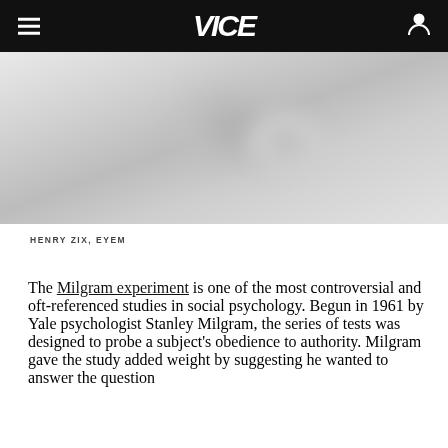VICE
[Figure (photo): Blurred, muted grey-toned photograph, indistinct subject]
HENRY ZIX, EYEM
The Milgram experiment is one of the most controversial and oft-referenced studies in social psychology. Begun in 1961 by Yale psychologist Stanley Milgram, the series of tests was designed to probe a subject's obedience to authority. Milgram gave the study added weight by suggesting he wanted to answer the question